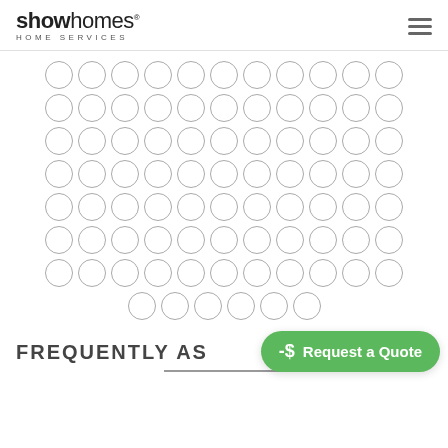showhomes HOME SERVICES
[Figure (illustration): A decorative grid of empty circles arranged in rows, used as a background design element]
FREQUENTLY AS...
Request a Quote